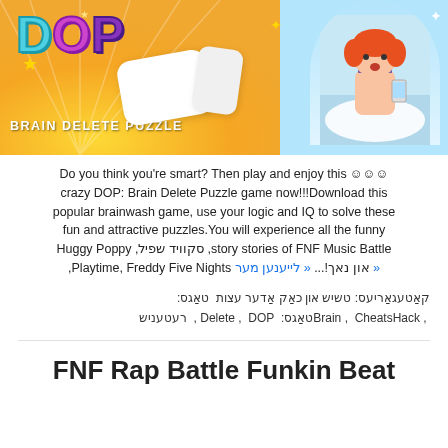[Figure (illustration): DOP Brain Delete Puzzle game banner with colorful logo text (D in teal, O in pink/purple, P in purple), large eraser shapes, a cartoon girl in a bathtub in an arched window on the right, and sunray background in yellow/orange tones]
Do you think you're smart? Then play and enjoy this ☺☺☺ crazy DOP: Brain Delete Puzzle game now!!!Download this popular brainwash game, use your logic and IQ to solve these fun and attractive puzzles.You will experience all the funny Huggy Poppy ,סקוויד שפיל ,story stories of FNF Music Battle ,Playtime, Freddy Five Nights און נאך!... « לייענען מער »
קאַטעגאַריעס: טשיש און כאַק אַדער עצות טאַגס: Brain , CheatsHack , Delete , DOP , רעטעניש
FNF Rap Battle Funkin Beat